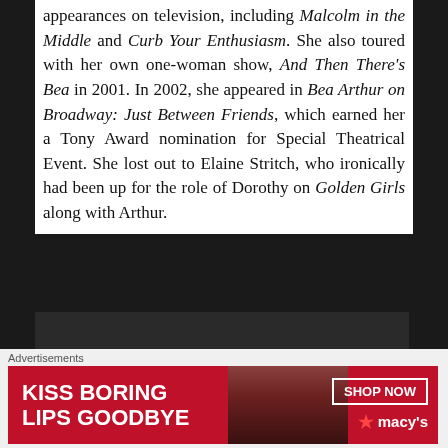appearances on television, including Malcolm in the Middle and Curb Your Enthusiasm. She also toured with her own one-woman show, And Then There's Bea in 2001. In 2002, she appeared in Bea Arthur on Broadway: Just Between Friends, which earned her a Tony Award nomination for Special Theatrical Event. She lost out to Elaine Stritch, who ironically had been up for the role of Dorothy on Golden Girls along with Arthur.
[Figure (other): Dark/black rectangular image area, likely a video or photo]
Advertisements
[Figure (illustration): Macy's advertisement banner: KISS BORING LIPS GOODBYE with SHOP NOW button and Macy's logo with star]